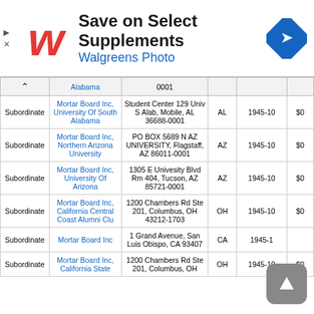[Figure (advertisement): Walgreens ad banner: Save on Select Supplements, Walgreens Photo, with Walgreens W logo and blue navigation icon]
|  | Alabama | 0001 |  |  |  |
| --- | --- | --- | --- | --- | --- |
| Subordinate | Mortar Board Inc, University Of South Alabama | Student Center 129 Univ S Alab, Mobile, AL 36688-0001 | AL | 1945-10 | $0 |
| Subordinate | Mortar Board Inc, Northern Arizona University | PO BOX 5689 N AZ UNIVERSITY, Flagstaff, AZ 86011-0001 | AZ | 1945-10 | $0 |
| Subordinate | Mortar Board Inc, University Of Arizona | 1305 E Univesity Blvd Rm 404, Tucson, AZ 85721-0001 | AZ | 1945-10 | $0 |
| Subordinate | Mortar Board Inc, California Central Coast Alumni Clu | 1200 Chambers Rd Ste 201, Columbus, OH 43212-1703 | OH | 1945-10 | $0 |
| Subordinate | Mortar Board Inc | 1 Grand Avenue, San Luis Obispo, CA 93407 | CA | 1945-1… |  |
| Subordinate | Mortar Board Inc, California State | 1200 Chambers Rd Ste 201, Columbus, OH | OH | 1945-10 | $0 |